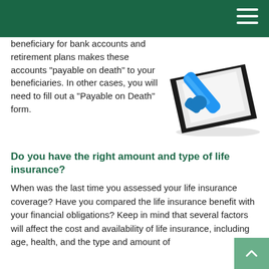beneficiary for bank accounts and retirement plans makes these accounts "payable on death" to your beneficiaries. In other cases, you will need to fill out a "Payable on Death" form.
[Figure (photo): 3D blue checkmark in a checkbox]
Do you have the right amount and type of life insurance?
When was the last time you assessed your life insurance coverage? Have you compared the life insurance benefit with your financial obligations? Keep in mind that several factors will affect the cost and availability of life insurance, including age, health, and the type and amount of